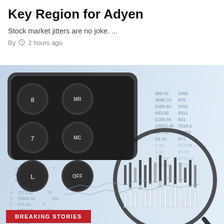Key Region for Adyen
Stock market jitters are no joke. ...
By  ⏱ 2 hours ago
[Figure (photo): Financial newspaper with stock market numbers and charts, a calculator in the upper left, and a magnifying glass in the lower right focusing on a candlestick stock chart. Blue-toned image.]
BREAKING STORIES